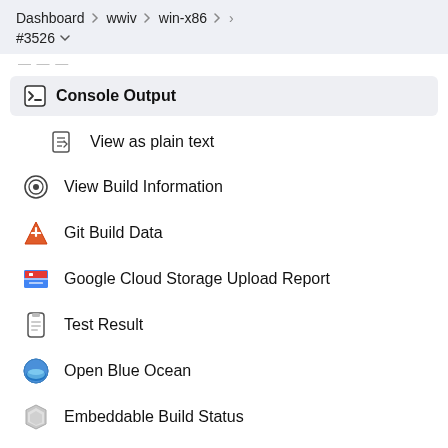Dashboard > wwiv > win-x86 > #3526
Console Output
View as plain text
View Build Information
Git Build Data
Google Cloud Storage Upload Report
Test Result
Open Blue Ocean
Embeddable Build Status